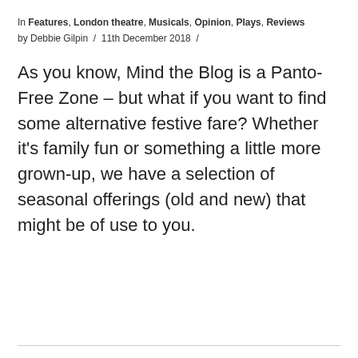In Features, London theatre, Musicals, Opinion, Plays, Reviews
by Debbie Gilpin / 11th December 2018 /
As you know, Mind the Blog is a Panto-Free Zone – but what if you want to find some alternative festive fare? Whether it's family fun or something a little more grown-up, we have a selection of seasonal offerings (old and new) that might be of use to you.
[Figure (photo): Stage performance photo showing performers on a dark stage with blue lighting. A man plays guitar on the left, with other performers including a woman with blonde hair in the center-right area. The scene is dramatically lit with blue and orange stage lighting.]